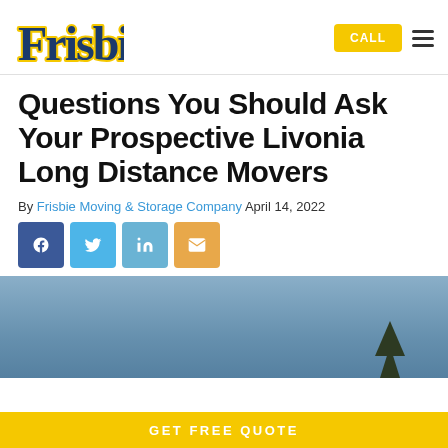Frisbie | CALL | menu
Questions You Should Ask Your Prospective Livonia Long Distance Movers
By Frisbie Moving & Storage Company April 14, 2022
[Figure (other): Social sharing buttons: Facebook (blue), Twitter (light blue), LinkedIn (light blue), Email (orange)]
[Figure (photo): Hero image of a blue sky with a tree silhouette in the lower right]
GET FREE QUOTE